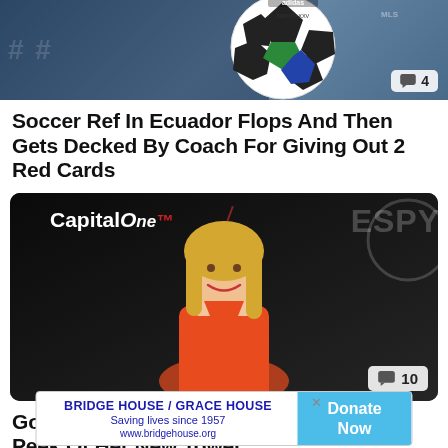[Figure (photo): Soccer ball close-up on a blue background with crowd, Adidas branding visible, comment badge showing 4]
Soccer Ref In Ecuador Flops And Then Gets Decked By Coach For Giving Out 2 Red Cards
[Figure (photo): Blonde woman in orange halter dress at ESPY awards event, Capital One backdrop, comment badge showing 10]
Golfer Paige Spiranac Gives Us a Sneak Peek Of Her New Towel
[Figure (infographic): Advertisement banner: BRIDGE HOUSE / GRACE HOUSE Saving lives since 1957 www.bridgehouse.org with Donate Now button]